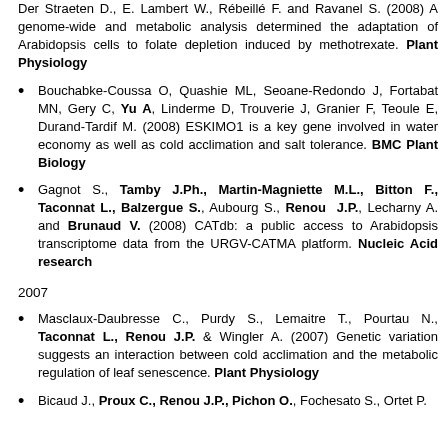Der Straeten D., E. Lambert W., Rébeillé F. and Ravanel S. (2008) A genome-wide and metabolic analysis determined the adaptation of Arabidopsis cells to folate depletion induced by methotrexate. Plant Physiology
Bouchabke-Coussa O, Quashie ML, Seoane-Redondo J, Fortabat MN, Gery C, Yu A, Linderme D, Trouverie J, Granier F, Teoule E, Durand-Tardif M. (2008) ESKIMO1 is a key gene involved in water economy as well as cold acclimation and salt tolerance. BMC Plant Biology
Gagnot S., Tamby J.Ph., Martin-Magniette M.L., Bitton F., Taconnat L., Balzergue S., Aubourg S., Renou J.P., Lecharny A. and Brunaud V. (2008) CATdb: a public access to Arabidopsis transcriptome data from the URGV-CATMA platform. Nucleic Acid research
2007
Masclaux-Daubresse C., Purdy S., Lemaitre T., Pourtau N., Taconnat L., Renou J.P. & Wingler A. (2007) Genetic variation suggests an interaction between cold acclimation and the metabolic regulation of leaf senescence. Plant Physiology
Bicaud J., Proux C., Renou J.P., Pichon O., Fochesato S., Ortet P.